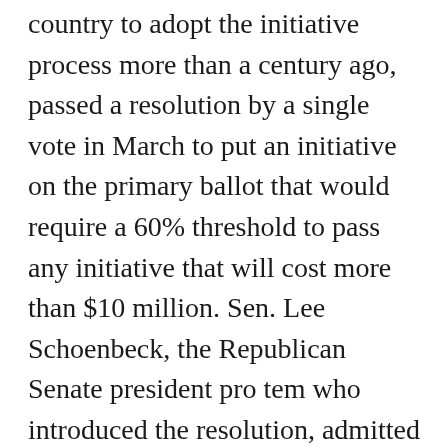country to adopt the initiative process more than a century ago, passed a resolution by a single vote in March to put an initiative on the primary ballot that would require a 60% threshold to pass any initiative that will cost more than $10 million. Sen. Lee Schoenbeck, the Republican Senate president pro tem who introduced the resolution, admitted to local news outlet Argus Leader that the measure was directly aimed at heading off the Medicaid expansion initiative backed by the grassroots group Dakotans for Health.

“It’s obviously by design because you’ve got